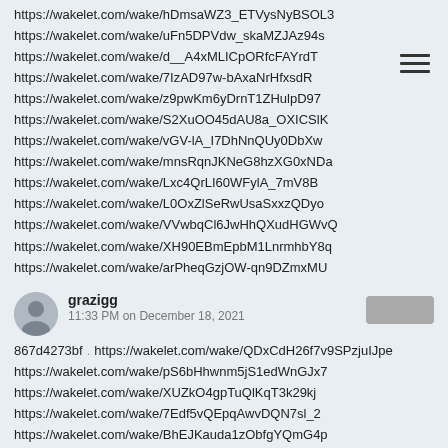https://wakelet.com/wake/hDmsaWZ3_ETVysNyBSOL3
https://wakelet.com/wake/uFn5DPVdw_skaMZJAz94s
https://wakelet.com/wake/d__A4xMLICpORfcFAYrdT
https://wakelet.com/wake/7IzAD97w-bAxaNrHfxsdR
https://wakelet.com/wake/z9pwKm6yDrnT1ZHulpD97
https://wakelet.com/wake/S2XuOO45dAU8a_OXICSlK
https://wakelet.com/wake/vGV-lA_I7DhNnQUy0DbXw
https://wakelet.com/wake/mnsRqnJKNeG8hzXG0xNDa
https://wakelet.com/wake/Lxc4QrLI60WFylA_7mV8B
https://wakelet.com/wake/L0OxZlSeRwUsaSxxzQDyo
https://wakelet.com/wake/VVwbqCl6JwHhQXudHGWvQ
https://wakelet.com/wake/XH90EBmEpbM1LnrmhbY8q
https://wakelet.com/wake/arPheqGzjOW-qn9DZmxMU
grazigg
11:33 PM on December 18, 2021
867d4273bf . https://wakelet.com/wake/QDxCdH26f7v9SPzjuIJpe
https://wakelet.com/wake/pS6bHhwnm5jS1edWnGJx7
https://wakelet.com/wake/XUZkO4gpTuQlKqT3k29kj
https://wakelet.com/wake/7Edf5vQEpqAwvDQN7sl_2
https://wakelet.com/wake/BhEJKauda1zObfgYQmG4p
https://wakelet.com/wake/BYAtCL8qQZ5WtMtzim6Kl
https://wakelet.com/wake/TWRw1AZtAe2fMy1oxgWrr
https://wakelet.com/wake/TO-K6ZBYhvza5d1qXl7fJ
https://wakelet.com/wake/-_8tCanBk29g_4KCV7K3C
https://wakelet.com/wake/W_2rNAbixetJ32AYqo2Rm
https://wakelet.com/wake/ZfDrLKzGO6dAHEbiVJjV_